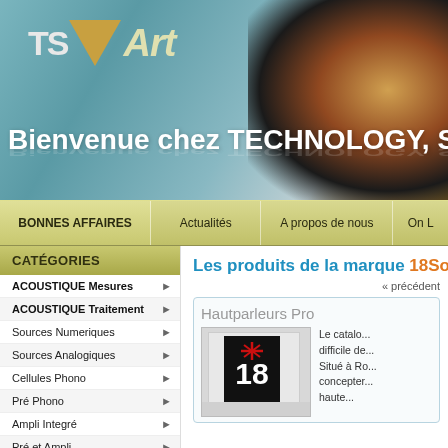TSVéArt - Bienvenue chez TECHNOLOGY, SCIENCE
Bienvenue chez TECHNOLOGY, SCIENCE
BONNES AFFAIRES
Actualités
A propos de nous
On L...
CATÉGORIES
ACOUSTIQUE Mesures
ACOUSTIQUE Traitement
Sources Numeriques
Sources Analogiques
Cellules Phono
Pré Phono
Ampli Integré
Pré et Ampli
Audio Video
Les produits de la marque 18So...
« précédent
Hautparleurs Pro
[Figure (photo): Product image showing a speaker driver with 18 logo on black panel, white casing]
Le catalo... difficile de... Situé à Re... concepter... haute...